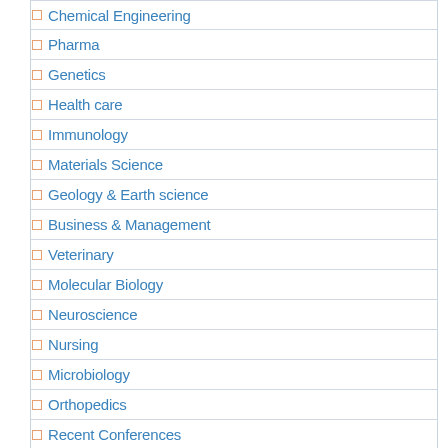Chemical Engineering
Pharma
Genetics
Health care
Immunology
Materials Science
Geology & Earth science
Business & Management
Veterinary
Molecular Biology
Neuroscience
Nursing
Microbiology
Orthopedics
Recent Conferences
Region-wise Conferences